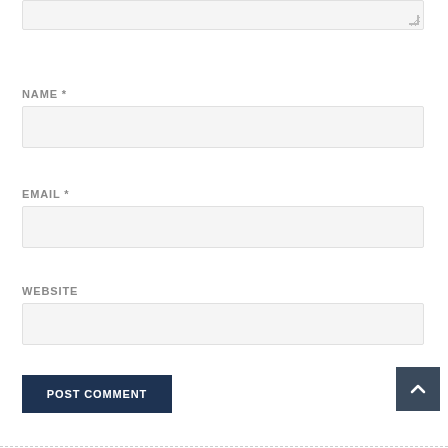NAME *
EMAIL *
WEBSITE
POST COMMENT